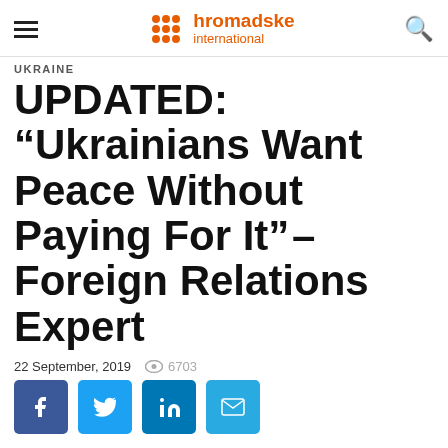hromadske international
UKRAINE
UPDATED: “Ukrainians Want Peace Without Paying For It” – Foreign Relations Expert
22 September, 2019   6703
[Figure (other): Social sharing buttons: Facebook, Twitter, LinkedIn, Email]
UPDATE: Ukrainian President Volodymyr